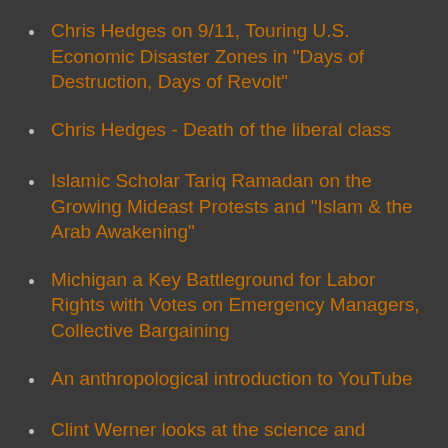Chris Hedges on 9/11, Touring U.S. Economic Disaster Zones in "Days of Destruction, Days of Revolt"
Chris Hedges - Death of the liberal class
Islamic Scholar Tariq Ramadan on the Growing Mideast Protests and "Islam & the Arab Awakening"
Michigan a Key Battleground for Labor Rights with Votes on Emergency Managers, Collective Bargaining
An anthropological introduction to YouTube
Clint Werner looks at the science and politics behind the medical marijuana movement (which began here circa 1996)